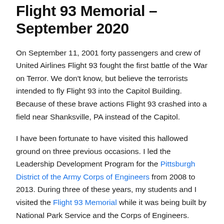Flight 93 Memorial – September 2020
On September 11, 2001 forty passengers and crew of United Airlines Flight 93 fought the first battle of the War on Terror. We don't know, but believe the terrorists intended to fly Flight 93 into the Capitol Building. Because of these brave actions Flight 93 crashed into a field near Shanksville, PA instead of the Capitol.
I have been fortunate to have visited this hallowed ground on three previous occasions. I led the Leadership Development Program for the Pittsburgh District of the Army Corps of Engineers from 2008 to 2013. During three of these years, my students and I visited the Flight 93 Memorial while it was being built by National Park Service and the Corps of Engineers. What an experience! We